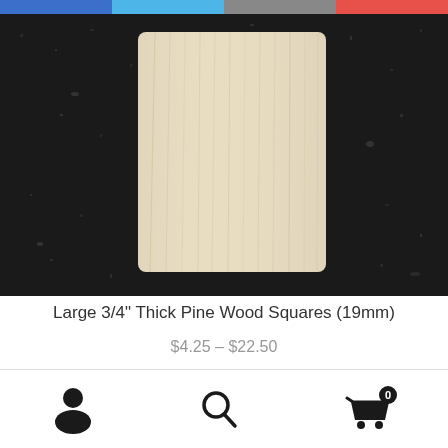Navigation bar with blue, light blue, gray, and red sections
[Figure (photo): A large pale pine wood square plank with visible wood grain, placed on a dark speckled granite surface. The wood piece is light cream/beige colored with subtle wood grain lines running vertically.]
Large 3/4" Thick Pine Wood Squares (19mm)
$4.25 – $22.50
Select option
Bottom navigation bar with user account icon, search icon, and shopping cart icon with badge showing 0